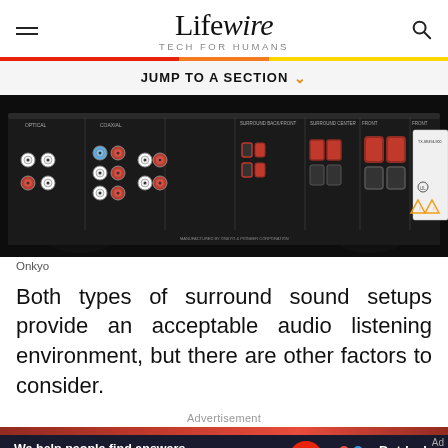Lifewire — TECH FOR HUMANS
[Figure (photo): Back panel of an Onkyo AV receiver showing multiple RCA inputs, speaker terminals, and connection ports]
Onkyo
Both types of surround sound setups provide an acceptable audio listening environment, but there are other factors to consider.
Advertisement
[Figure (other): Dotdash Meredith advertisement banner: 'We help people find answers, solve problems and get inspired.']